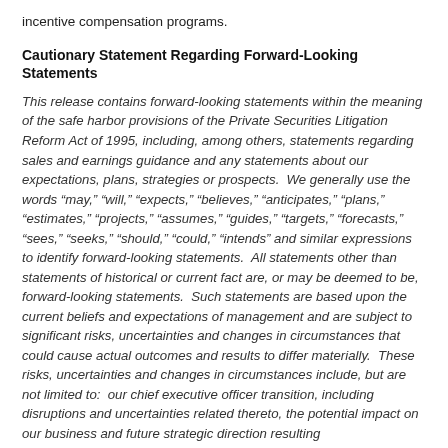incentive compensation programs.
Cautionary Statement Regarding Forward-Looking Statements
This release contains forward-looking statements within the meaning of the safe harbor provisions of the Private Securities Litigation Reform Act of 1995, including, among others, statements regarding sales and earnings guidance and any statements about our expectations, plans, strategies or prospects.  We generally use the words “may,” “will,” “expects,” “believes,” “anticipates,” “plans,” “estimates,” “projects,” “assumes,” “guides,” “targets,” “forecasts,” “sees,” “seeks,” “should,” “could,” “intends” and similar expressions to identify forward-looking statements.  All statements other than statements of historical or current fact are, or may be deemed to be, forward-looking statements.  Such statements are based upon the current beliefs and expectations of management and are subject to significant risks, uncertainties and changes in circumstances that could cause actual outcomes and results to differ materially.  These risks, uncertainties and changes in circumstances include, but are not limited to:  our chief executive officer transition, including disruptions and uncertainties related thereto, the potential impact on our business and future strategic direction resulting